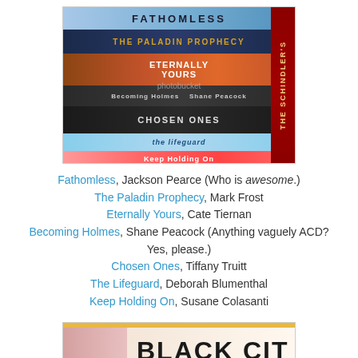[Figure (photo): A stack of books photographed from above showing their spines: Fathomless, The Paladin Prophecy, Eternally Yours, Becoming Holmes, Chosen Ones, The Lifeguard, Keep Holding On, with a side spine visible (The Schindler's). Photobucket watermark visible.]
Fathomless, Jackson Pearce (Who is awesome.) The Paladin Prophecy, Mark Frost Eternally Yours, Cate Tiernan Becoming Holmes, Shane Peacock (Anything vaguely ACD? Yes, please.) Chosen Ones, Tiffany Truitt The Lifeguard, Deborah Blumenthal Keep Holding On, Susane Colasanti
[Figure (photo): Partially visible book cover showing the title BLACK CITY in large bold letters on a light/cream background with a golden/orange stripe at top and bottom.]